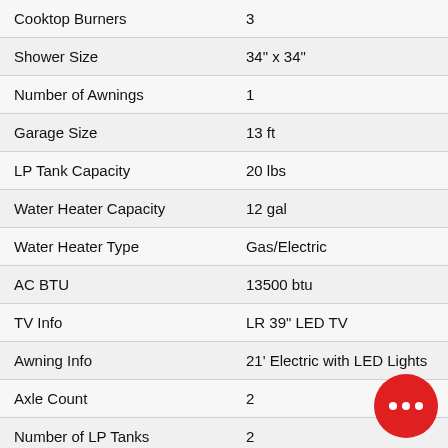| Feature | Value |
| --- | --- |
| Cooktop Burners | 3 |
| Shower Size | 34" x 34" |
| Number of Awnings | 1 |
| Garage Size | 13 ft |
| LP Tank Capacity | 20 lbs |
| Water Heater Capacity | 12 gal |
| Water Heater Type | Gas/Electric |
| AC BTU | 13500 btu |
| TV Info | LR 39" LED TV |
| Awning Info | 21' Electric with LED Lights |
| Axle Count | 2 |
| Number of LP Tanks | 2 |